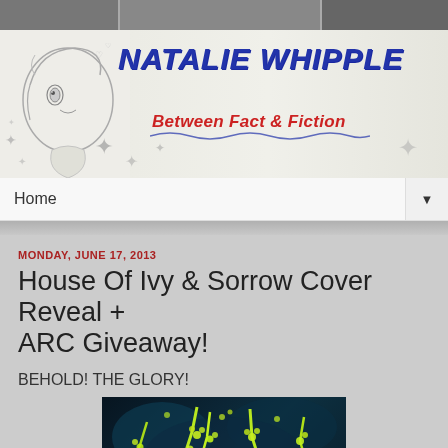[Figure (illustration): Blog header banner for 'Natalie Whipple — Between Fact & Fiction' with manga-style girl illustration on left and handwritten-style title text]
Home
MONDAY, JUNE 17, 2013
House Of Ivy & Sorrow Cover Reveal + ARC Giveaway!
BEHOLD! THE GLORY!
[Figure (photo): Book cover of House Of Ivy & Sorrow showing yellow-green ivy branches on dark background with large letters 'HOISE' visible at bottom]